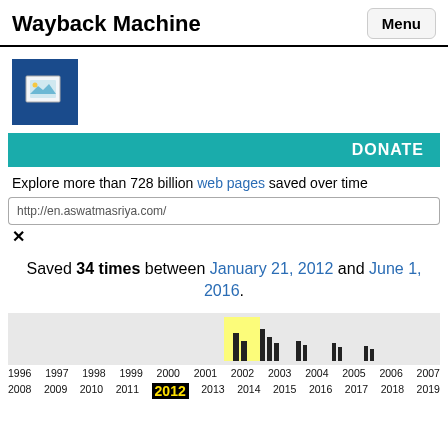Wayback Machine
[Figure (logo): Wayback Machine logo: blue square with a small image icon inside]
DONATE
Explore more than 728 billion web pages saved over time
http://en.aswatmasriya.com/
Saved 34 times between January 21, 2012 and June 1, 2016.
[Figure (bar-chart): Bar chart showing archive captures by year from 1996 to 2007, with bars concentrated around 2003-2007 range. Yellow highlighted bar near 2003.]
1996 1997 1998 1999 2000 2001 2002 2003 2004 2005 2006 2007
2008 2009 2010 2011 2012 2013 2014 2015 2016 2017 2018 2019